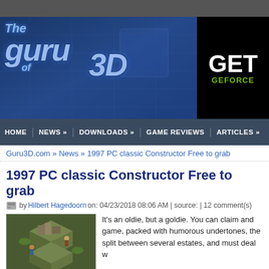[Figure (screenshot): Guru3D website screenshot showing header banner with logo, navigation bar, breadcrumb, and article about 1997 PC classic Constructor Free to grab]
The Guru of 3D
HOME | NEWS » | DOWNLOADS » | GAME REVIEWS | ARTICLES »
Guru3D.com » News » 1997 PC classic Constructor Free to grab
1997 PC classic Constructor Free to grab
by Hilbert Hagedoorn on: 04/23/2018 08:06 AM | source: | 12 comment(s)
[Figure (screenshot): Game screenshot showing isometric construction game view]
It's an oldie, but a goldie. You can claim and game, packed with humorous undertones, the split between several estates, and must deal w
About the game:
The player controls a construction company, and aim to drive th workers and foremen, the player must build facilities to manufactu cts), in order to build houses (a series of previously developed si